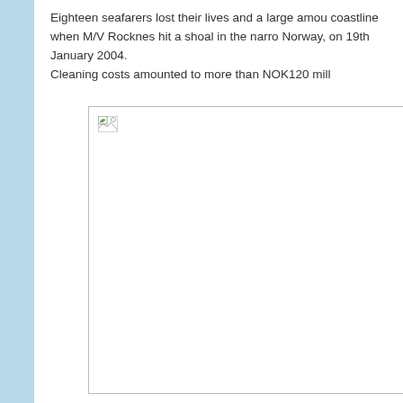Eighteen seafarers lost their lives and a large amount of oil polluted the coastline when M/V Rocknes hit a shoal in the narrow channel outside Hjeltefjorden, Norway, on 19th January 2004.
Cleaning costs amounted to more than NOK120 mill...
[Figure (photo): Placeholder image (broken/missing image icon shown) depicting the M/V Rocknes incident or related scene.]